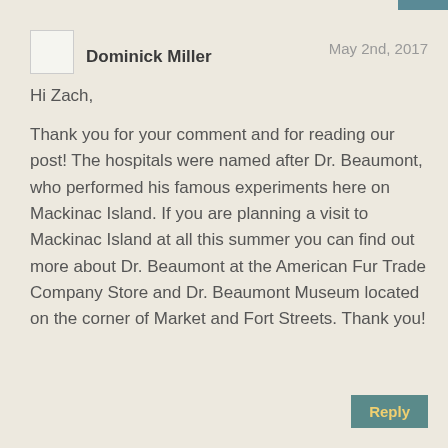Dominick Miller
May 2nd, 2017
Hi Zach,
Thank you for your comment and for reading our post! The hospitals were named after Dr. Beaumont, who performed his famous experiments here on Mackinac Island. If you are planning a visit to Mackinac Island at all this summer you can find out more about Dr. Beaumont at the American Fur Trade Company Store and Dr. Beaumont Museum located on the corner of Market and Fort Streets. Thank you!
Reply